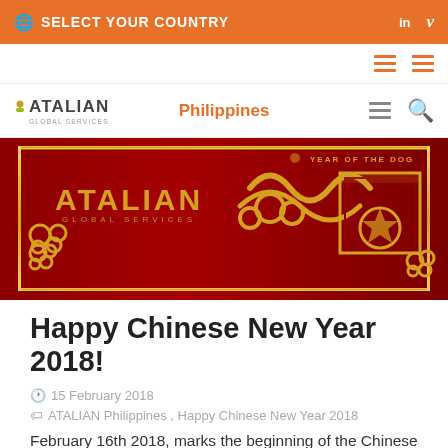SELECT YOUR COUNTRY
[Figure (photo): ATALIAN Global Services Chinese New Year 2018 banner with red and gold decorative elements and 'Year of the Dog' text]
Happy Chinese New Year 2018!
15 February 2018
ATALIAN Philippines, Happy Chinese New Year 2018
February 16th 2018, marks the beginning of the Chinese New Year celebrations around the